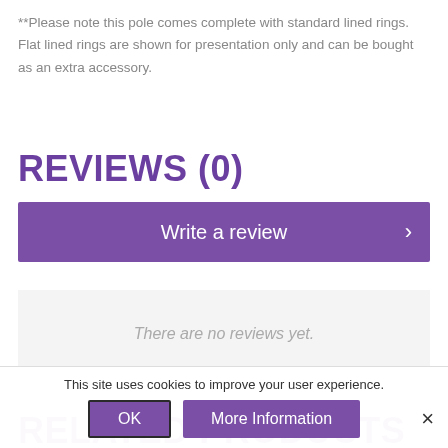**Please note this pole comes complete with standard lined rings. Flat lined rings are shown for presentation only and can be bought as an extra accessory.
REVIEWS (0)
Write a review
There are no reviews yet.
RELATED PRODUCTS
This site uses cookies to improve your user experience.
OK
More Information